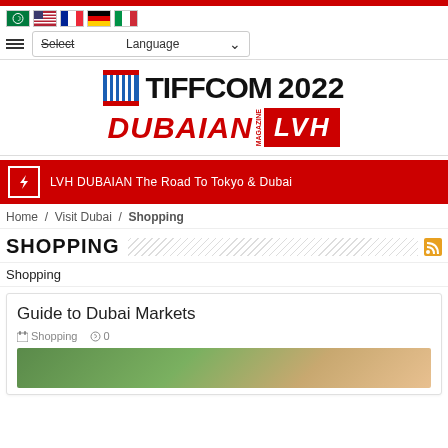TIFFCOM 2022 DUBAIAN MAGAZINE / LVH
[Figure (logo): TIFFCOM 2022 logo with blue film icon, DUBAIAN magazine text in red italic, LVH in white on red box]
LVH DUBAIAN The Road To Tokyo & Dubai
Home / Visit Dubai / Shopping
SHOPPING
Shopping
Guide to Dubai Markets
Shopping  0